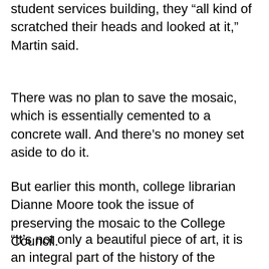student services building, they “all kind of scratched their heads and looked at it,” Martin said.
There was no plan to save the mosaic, which is essentially cemented to a concrete wall. And there’s no money set aside to do it.
But earlier this month, college librarian Dianne Moore took the issue of preserving the mosaic to the College Council.
“It’s not only a beautiful piece of art, it is an integral part of the history of the campus and of Bremerton,”